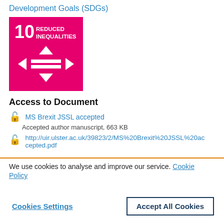Development Goals (SDGs)
[Figure (logo): UN SDG 10 - Reduced Inequalities badge. Pink/magenta square with '10 REDUCED INEQUALITIES' text and directional arrows icon in white.]
Access to Document
MS Brexit JSSL accepted
Accepted author manuscript, 663 KB
http://uir.ulster.ac.uk/39823/2/MS%20Brexit%20JSSL%20accepted.pdf
We use cookies to analyse and improve our service. Cookie Policy
Cookies Settings   Accept All Cookies